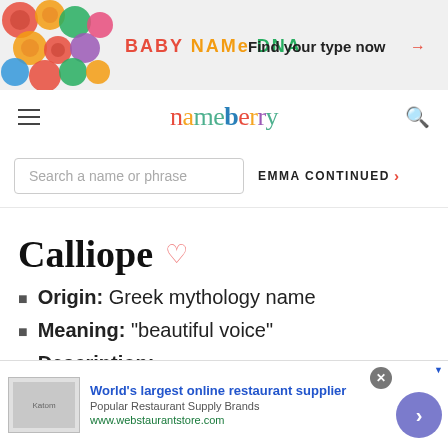[Figure (screenshot): Baby Name DNA advertisement banner with colorful circles design and 'Find your type now →' call to action]
nameberry
Search a name or phrase
EMMA CONTINUED ›
Calliope
Origin: Greek mythology name
Meaning: "beautiful voice"
Description:
Calliope is the name of the muse of
[Figure (screenshot): Advertisement for World's largest online restaurant supplier - webstaurantstore.com]